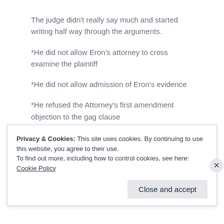The judge didn't really say much and started writing half way through the arguments.
*He did not allow Eron's attorney to cross examine the plaintiff
*He did not allow admission of Eron's evidence
*He refused the Attorney's first amendment objection to the gag clause
*He mentioned nothing about his reasoning besides a vague reference to 'intimidation'.
Privacy & Cookies: This site uses cookies. By continuing to use this website, you agree to their use.
To find out more, including how to control cookies, see here: Cookie Policy
Close and accept